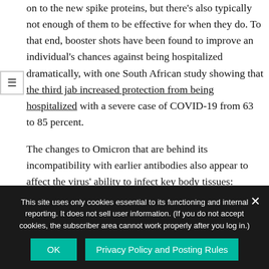on to the new spike proteins, but there's also typically not enough of them to be effective for when they do. To that end, booster shots have been found to improve an individual's chances against being hospitalized dramatically, with one South African study showing that the third jab increased protection from being hospitalized with a severe case of COVID-19 from 63 to 85 percent.
The changes to Omicron that are behind its incompatibility with earlier antibodies also appear to affect the virus' ability to infect key body tissues: compared to Delta, this variant has been found to
This site uses only cookies essential to its functioning and internal reporting. It does not sell user information. (If you do not accept cookies, the subscriber area cannot work properly after you log in.)